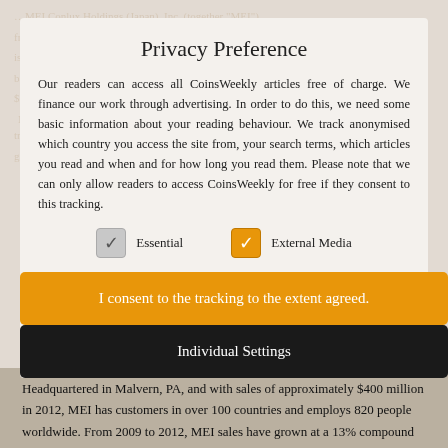Privacy Preference
Our readers can access all CoinsWeekly articles free of charge. We finance our work through advertising. In order to do this, we need some basic information about your reading behaviour. We track anonymised which country you access the site from, your search terms, which articles you read and when and for how long you read them. Please note that we can only allow readers to access CoinsWeekly for free if they consent to this tracking.
Essential (checkbox unchecked) | External Media (checkbox checked)
I consent to the tracking to the extent agreed.
Individual Settings
Headquartered in Malvern, PA, and with sales of approximately $400 million in 2012, MEI has customers in over 100 countries and employs 820 people worldwide. From 2009 to 2012, MEI sales have grown at a 13% compound